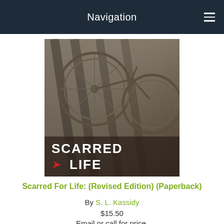Navigation
[Figure (photo): Book cover of 'Scarred For Life' showing a bicycle with shadows and the title text in bold letters]
Scarred For Life: (Revised Edition) (Paperback)
By S. L. Kassidy
$15.50
Email or call for price.
[Figure (photo): Book cover of 'Bandages' by S.L. Kassidy showing hands in dark tones]